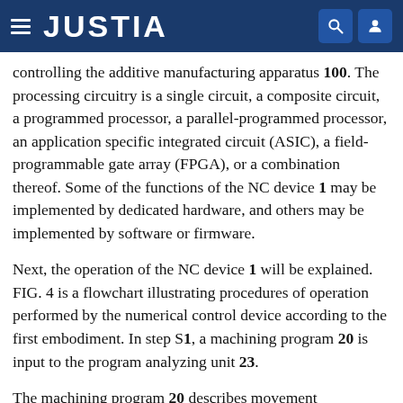JUSTIA
controlling the additive manufacturing apparatus 100. The processing circuitry is a single circuit, a composite circuit, a programmed processor, a parallel-programmed processor, an application specific integrated circuit (ASIC), a field-programmable gate array (FPGA), or a combination thereof. Some of the functions of the NC device 1 may be implemented by dedicated hardware, and others may be implemented by software or firmware.
Next, the operation of the NC device 1 will be explained. FIG. 4 is a flowchart illustrating procedures of operation performed by the numerical control device according to the first embodiment. In step S1, a machining program 20 is input to the program analyzing unit 23.
The machining program 20 describes movement